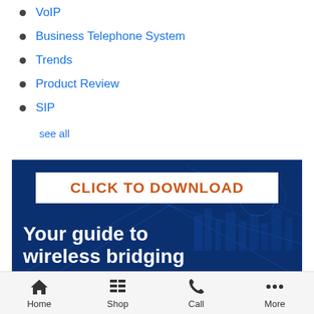VoIP
Business Telephone System
Trends
Product Review
SIP
see all
[Figure (infographic): Blue banner ad with 'CLICK TO DOWNLOAD' button and text 'Your guide to wireless bridging']
Home  Shop  Call  More